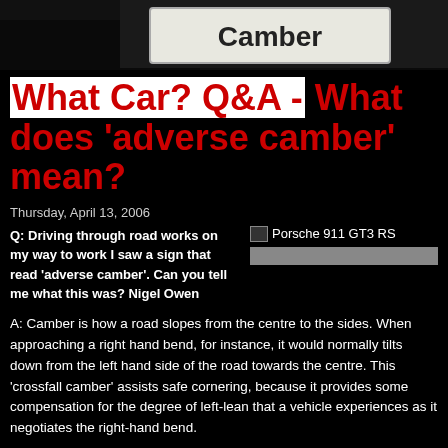[Figure (photo): Photo of a road sign reading 'Camber' with dark trees in the background]
What Car? Q&A - What does 'adverse camber' mean?
Thursday, April 13, 2006
Q: Driving through road works on my way to work I saw a sign that read 'adverse camber'. Can you tell me what this was? Nigel Owen
[Figure (photo): Porsche 911 GT3 RS image placeholder]
A: Camber is how a road slopes from the centre to the sides. When approaching a right hand bend, for instance, it would normally tilts down from the left hand side of the road towards the centre. This 'crossfall camber' assists safe cornering, because it provides some compensation for the degree of left-lean that a vehicle experiences as it negotiates the right-hand bend.
At road works, it is not always practical to maintain this desirable road camber. So the temporary road surface may display an 'adverse camber', tilting